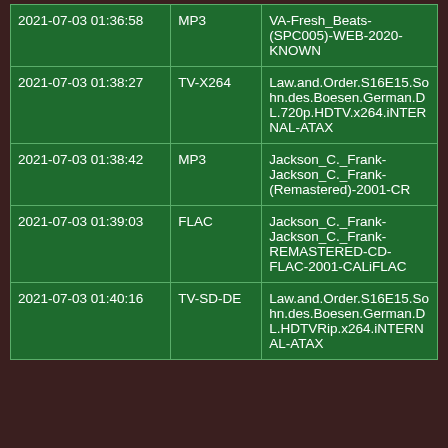| 2021-07-03 01:36:58 | MP3 | VA-Fresh_Beats-(SPC005)-WEB-2020-KNOWN |
| 2021-07-03 01:38:27 | TV-X264 | Law.and.Order.S16E15.Sohn.des.Boesen.German.DL.720p.HDTV.x264.iNTERNAL-ATAX |
| 2021-07-03 01:38:42 | MP3 | Jackson_C._Frank-Jackson_C._Frank-(Remastered)-2001-CR |
| 2021-07-03 01:39:03 | FLAC | Jackson_C._Frank-Jackson_C._Frank-REMASTERED-CD-FLAC-2001-CALiFLAC |
| 2021-07-03 01:40:16 | TV-SD-DE | Law.and.Order.S16E15.Sohn.des.Boesen.German.DL.HDTVRip.x264.iNTERNAL-ATAX |